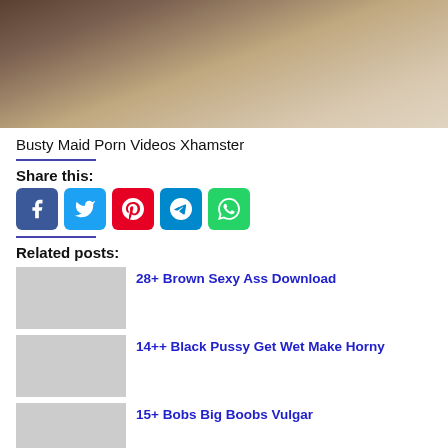[Figure (photo): Photo showing a person in a black and white maid costume on a bed]
Busty Maid Porn Videos Xhamster
Share this:
[Figure (infographic): Social share buttons: Facebook, Twitter, Pinterest, Telegram, WhatsApp]
Related posts:
28+ Brown Sexy Ass Download
14++ Black Pussy Get Wet Make Horny
15+ Bobs Big Boobs Vulgar